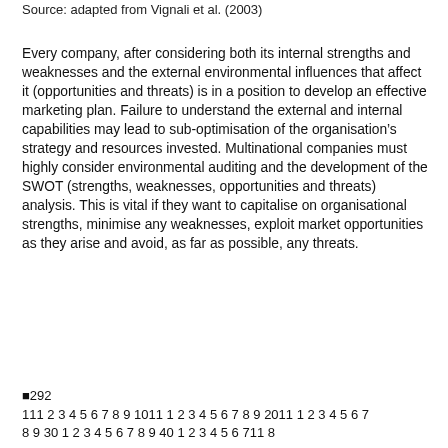Source: adapted from Vignali et al. (2003)
Every company, after considering both its internal strengths and weaknesses and the external environmental influences that affect it (opportunities and threats) is in a position to develop an effective marketing plan. Failure to understand the external and internal capabilities may lead to sub-optimisation of the organisation’s strategy and resources invested. Multinational companies must highly consider environmental auditing and the development of the SWOT (strengths, weaknesses, opportunities and threats) analysis. This is vital if they want to capitalise on organisational strengths, minimise any weaknesses, exploit market opportunities as they arise and avoid, as far as possible, any threats.
■292
111 2 3 4 5 6 7 8 9 1011 1 2 3 4 5 6 7 8 9 2011 1 2 3 4 5 6 7 8 9 30 1 2 3 4 5 6 7 8 9 40 1 2 3 4 5 6 711 8